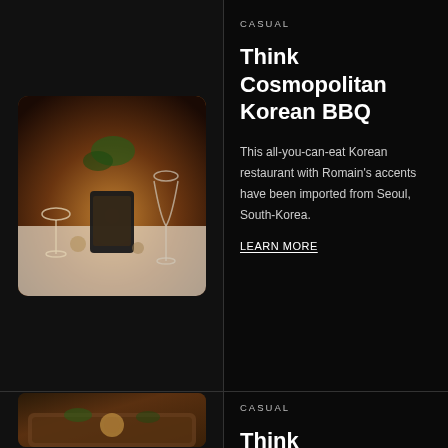[Figure (photo): Restaurant table setting with wine glasses, a tablet menu, and decorative items in warm amber lighting]
CASUAL
Think Cosmopolitan Korean BBQ
This all-you-can-eat Korean restaurant with Romain's accents have been imported from Seoul, South-Korea.
LEARN MORE
[Figure (photo): Restaurant interior or food item with warm wooden tones, bottom of page cut off]
CASUAL
Think Cosmopolitan Canting